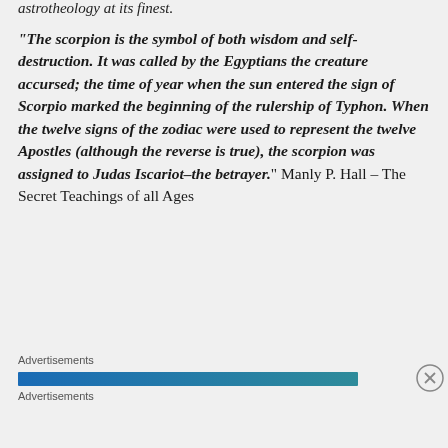astrotheology at its finest.
“The scorpion is the symbol of both wisdom and self-destruction. It was called by the Egyptians the creature accursed; the time of year when the sun entered the sign of Scorpio marked the beginning of the rulership of Typhon. When the twelve signs of the zodiac were used to represent the twelve Apostles (although the reverse is true), the scorpion was assigned to Judas Iscariot–the betrayer.” Manly P. Hall – The Secret Teachings of all Ages
Advertisements
[Figure (other): A horizontal gradient advertisement bar, blue to teal]
Advertisements